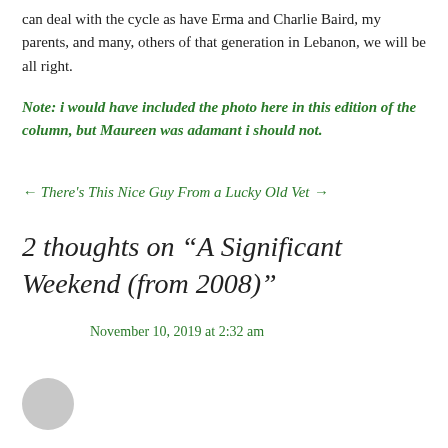can deal with the cycle as have Erma and Charlie Baird, my parents, and many, others of that generation in Lebanon, we will be all right.
Note: i would have included the photo here in this edition of the column, but Maureen was adamant i should not.
← There's This Nice Guy From a Lucky Old Vet →
2 thoughts on “A Significant Weekend (from 2008)”
November 10, 2019 at 2:32 am